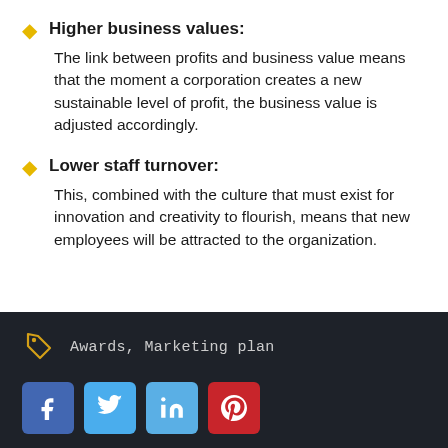Higher business values: The link between profits and business value means that the moment a corporation creates a new sustainable level of profit, the business value is adjusted accordingly.
Lower staff turnover: This, combined with the culture that must exist for innovation and creativity to flourish, means that new employees will be attracted to the organization.
Awards, Marketing plan